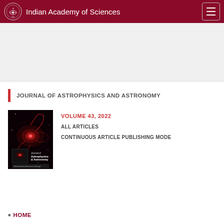Indian Academy of Sciences
JOURNAL OF ASTROPHYSICS AND ASTRONOMY
[Figure (illustration): Journal of Astrophysics and Astronomy cover image showing a spiral galaxy with red and pink hues, with journal title text overlay at bottom]
VOLUME 43, 2022
ALL ARTICLES
CONTINUOUS ARTICLE PUBLISHING MODE
HOME